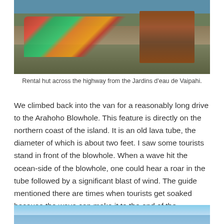[Figure (photo): Rental hut with colorful kayaks and canoes on carts near waterfront, with wooden sign posts visible on the right side]
Rental hut across the highway from the Jardins d'eau de Vaipahi.
We climbed back into the van for a reasonably long drive to the Arahoho Blowhole. This feature is directly on the northern coast of the island. It is an old lava tube, the diameter of which is about two feet. I saw some tourists stand in front of the blowhole. When a wave hit the ocean-side of the blowhole, one could hear a roar in the tube followed by a significant blast of wind. The guide mentioned there are times when tourists get soaked because the wave can make it to the end of the blowhole. I surmise that may be during high tide.
[Figure (photo): Partial view of coastal scene with blue sky and ocean]